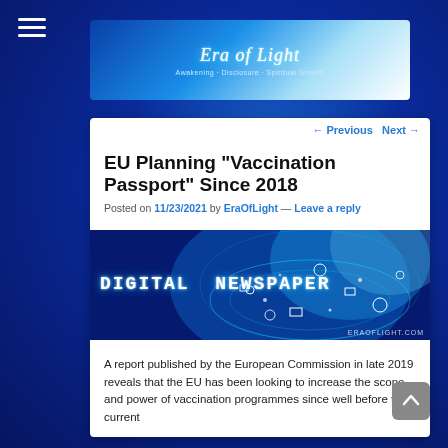Era of Light
← Previous   Next →
EU Planning “Vaccination Passport” Since 2018
Posted on 11/23/2021 by EraOfLight — Leave a reply
[Figure (screenshot): Digital Newspaper banner image with network globe and tech icons on blue background, watermark ERAOFLIGHT.COM]
A report published by the European Commission in late 2019 reveals that the EU has been looking to increase the scope and power of vaccination programmes since well before the current